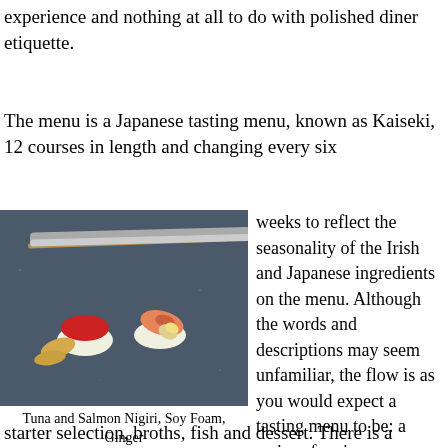experience and nothing at all to do with polished diner etiquette.
The menu is a Japanese tasting menu, known as Kaiseki, 12 courses in length and changing every six
[Figure (photo): Photo of Tuna and Salmon Nigiri with Soy Foam and Ginger on a dark stone plate, with chopsticks visible at the top]
Tuna and Salmon Nigiri, Soy Foam, Ginger
weeks to reflect the seasonality of the Irish and Japanese ingredients on the menu. Although the words and descriptions may seem unfamiliar, the flow is as you would expect a tasting menu to be: a series of main courses and side dishes flanked by an amuse bouche, sushi,
starter selection, broths, fish and dessert. There is a definite